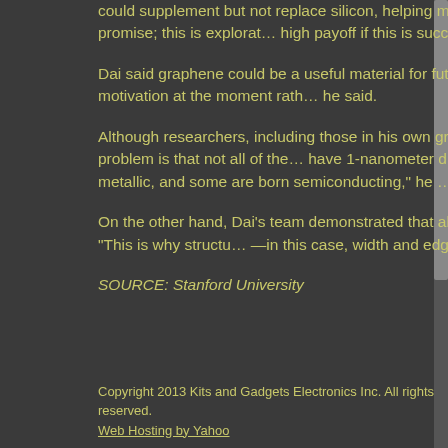could supplement but not replace silicon, helping meet the demand for ever-faster processing. "People need to realize this is not a promise; this is exploratory research with high payoff if this is successful," he said.
Dai said graphene could be a useful material for future electronics but does not replace silicon anytime soon. "I would rather say this is motivation at the moment rather than promise," he said.
Although researchers, including those in his own group, have shown that carbon nanotubes outperform silicon in speed by a factor of two, the problem is that not all of the tubes, which have 1-nanometer diameters, are semiconducting, Dai said. "Depending on the chirality, some carbon nanotubes are born metallic, and some are born semiconducting," he said. Metallic nanotubes can never switch off and act like electrical shorts for the device, which is a problem.
On the other hand, Dai's team demonstrated that all of their narrow graphene nanoribbons from their novel chemical technique are semiconductors. "This is why structure matters—in this case, width and edges—matters," he said.
SOURCE: Stanford University
Copyright 2013 Kits and Gadgets Electronics Inc. All rights reserved.
Web Hosting by Yahoo